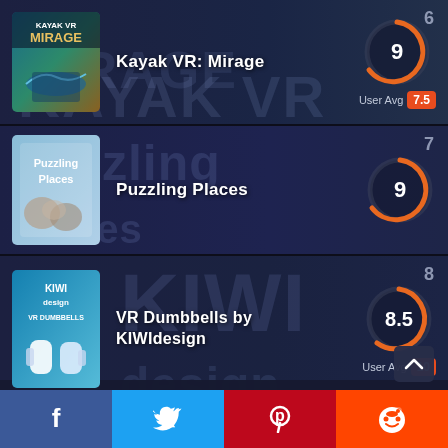[Figure (screenshot): Game listing card for Kayak VR: Mirage, ranked #6, score 9, User Avg 7.5]
[Figure (screenshot): Game listing card for Puzzling Places, ranked #7, score 9]
[Figure (screenshot): Game listing card for VR Dumbbells by KIWIdesign, ranked #8, score 8.5, User Avg 10]
[Figure (infographic): Social sharing bar with Facebook, Twitter, Pinterest, Reddit buttons]